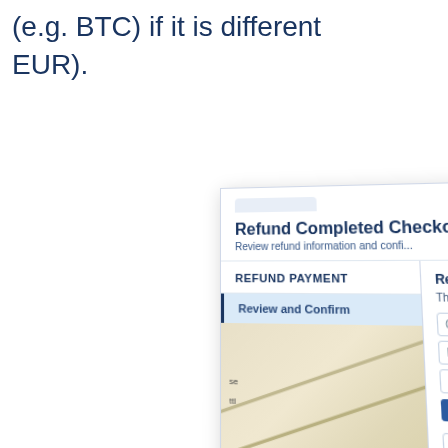(e.g. BTC) if it is different EUR).
[Figure (screenshot): Screenshot of a 'Refund Completed Checkout' interface showing a two-panel layout. Left panel: REFUND PAYMENT header with a 'Review and Confirm' active menu item (highlighted in light blue with left border), and a card/image area below with '+' button. Right panel: Review section header, descriptive text starting with 'The r...', input fields labeled 'Co...', 'Re...', 'R...', a button 'T...', link 'C...', and 'S...' / 'C...' links at the bottom. The screenshot is shown in perspective/3D angle.]